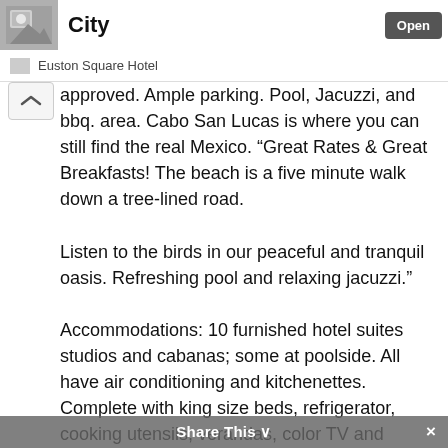City | Open | Euston Square Hotel
approved. Ample parking. Pool, Jacuzzi, and bbq. area. Cabo San Lucas is where you can still find the real Mexico. “Great Rates & Great Breakfasts! The beach is a five minute walk down a tree-lined road.

Listen to the birds in our peaceful and tranquil oasis. Refreshing pool and relaxing jacuzzi.”

Accommodations: 10 furnished hotel suites studios and cabanas; some at poolside. All have air conditioning and kitchenettes. Complete with king size beds, refrigerator, cooking utensils, verandas, color TV and shower baths. Listen to the birds in our peaceful and tranquil oasis. Refreshing pool and relaxing
Share This ∨ ×